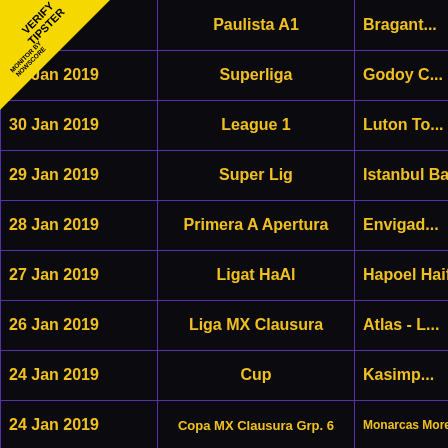| Date | League | Match |
| --- | --- | --- |
| ...2019 | Paulista A1 | Bragant... |
| 01 Jan 2019 | Superliga | Godoy C... |
| 30 Jan 2019 | League 1 | Luton To... |
| 29 Jan 2019 | Super Lig | Istanbul Bas... |
| 28 Jan 2019 | Primera A Apertura | Envigad... |
| 27 Jan 2019 | Ligat HaAl | Hapoel Haifa - Ha... |
| 26 Jan 2019 | Liga MX Clausura | Atlas - L... |
| 24 Jan 2019 | Cup | Kasimp... |
| 24 Jan 2019 | Copa MX Clausura Grp. 6 | Monarcas Morelia... |
[Figure (logo): Verify Tipster badge - yellow triangle in top-left corner with text VERIFY TIPSTER and MONITOR BY NOWSCORE]